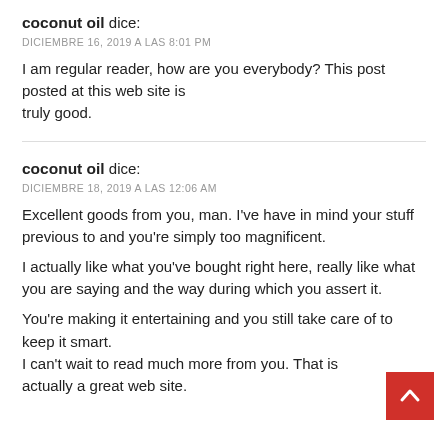coconut oil dice:
DICIEMBRE 16, 2019 A LAS 8:01 PM
I am regular reader, how are you everybody? This post posted at this web site is truly good.
coconut oil dice:
DICIEMBRE 18, 2019 A LAS 12:06 AM
Excellent goods from you, man. I've have in mind your stuff previous to and you're simply too magnificent.
I actually like what you've bought right here, really like what you are saying and the way during which you assert it.
You're making it entertaining and you still take care of to keep it smart.
I can't wait to read much more from you. That is actually a great web site.